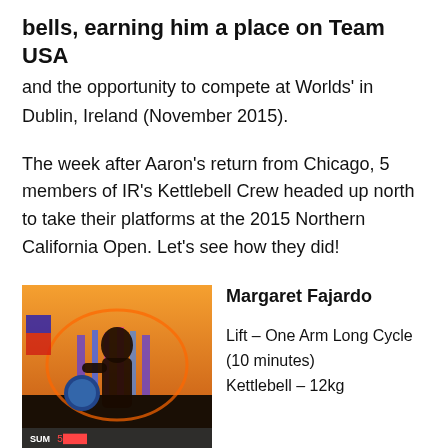bells, earning him a place on Team USA
and the opportunity to compete at Worlds' in Dublin, Ireland (November 2015).
The week after Aaron's return from Chicago, 5 members of IR's Kettlebell Crew headed up north to take their platforms at the 2015 Northern California Open. Let's see how they did!
[Figure (photo): Woman lifting a kettlebell in a gym setting with colorful mural in background. Screen shows SUM text at bottom.]
Margaret Fajardo
Lift – One Arm Long Cycle (10 minutes)
Kettlebell – 12kg